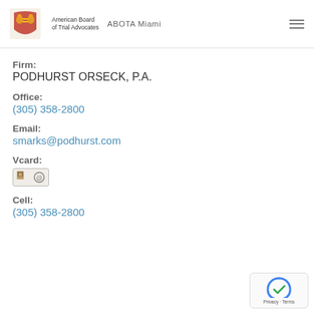American Board of Trial Advocates — ABOTA Miami
Firm:
PODHURST ORSECK, P.A.
Office:
(305) 358-2800
Email:
smarks@podhurst.com
Vcard:
[Figure (other): Vcard icon with photo and email symbol]
Cell:
(305) 358-2800